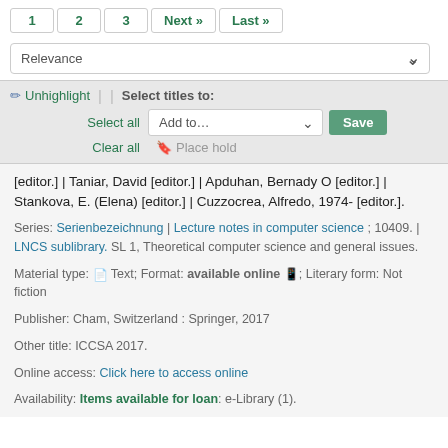1  2  3  Next »  Last »
Relevance
✏ Unhighlight  |  | Select titles to:  Select all  Add to...  Save  Clear all  Place hold
[editor.] | Taniar, David [editor.] | Apduhan, Bernady O [editor.] | Stankova, E. (Elena) [editor.] | Cuzzocrea, Alfredo, 1974- [editor.].
Series: Serienbezeichnung | Lecture notes in computer science ; 10409. | LNCS sublibrary. SL 1, Theoretical computer science and general issues.
Material type: Text; Format: available online; Literary form: Not fiction
Publisher: Cham, Switzerland : Springer, 2017
Other title: ICCSA 2017.
Online access: Click here to access online
Availability: Items available for loan: e-Library (1).